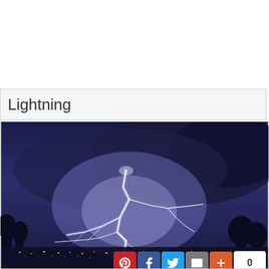Lightning
[Figure (photo): A dramatic lightning strike photo showing multiple branching lightning bolts against a dark purple-blue stormy sky, with city lights and silhouetted trees at the bottom. Social media share buttons (Pinterest, Facebook, Twitter, Email, Plus) with a count of 0 are overlaid on the top-right of the image.]